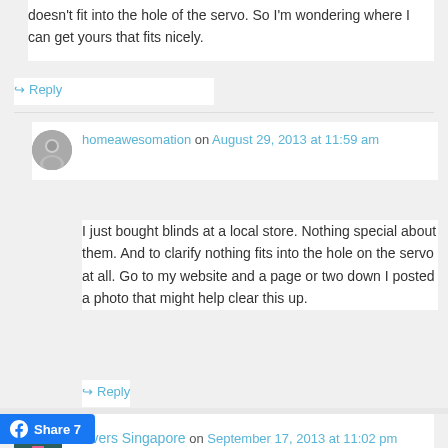doesn't fit into the hole of the servo. So I'm wondering where I can get yours that fits nicely.
↪ Reply
homeawesomation on August 29, 2013 at 11:59 am
I just bought blinds at a local store. Nothing special about them. And to clarify nothing fits into the hole on the servo at all. Go to my website and a page or two down I posted a photo that might help clear this up.
↪ Reply
Movers Singapore on September 17, 2013 at 11:02 pm
is awesome to visit this website and reading the views of all mates about this piece of writing, while I am also keen of